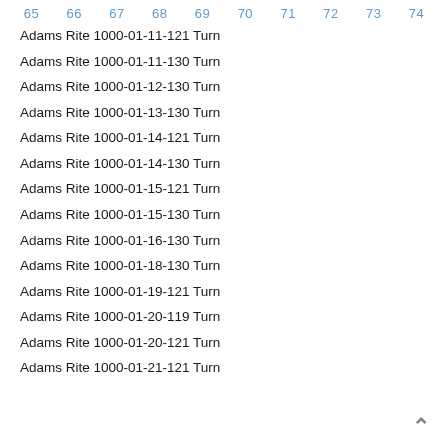65  66  67  68  69  70  71  72  73  74
Adams Rite 1000-01-11-121 Turn
Adams Rite 1000-01-11-130 Turn
Adams Rite 1000-01-12-130 Turn
Adams Rite 1000-01-13-130 Turn
Adams Rite 1000-01-14-121 Turn
Adams Rite 1000-01-14-130 Turn
Adams Rite 1000-01-15-121 Turn
Adams Rite 1000-01-15-130 Turn
Adams Rite 1000-01-16-130 Turn
Adams Rite 1000-01-18-130 Turn
Adams Rite 1000-01-19-121 Turn
Adams Rite 1000-01-20-119 Turn
Adams Rite 1000-01-20-121 Turn
Adams Rite 1000-01-21-121 Turn